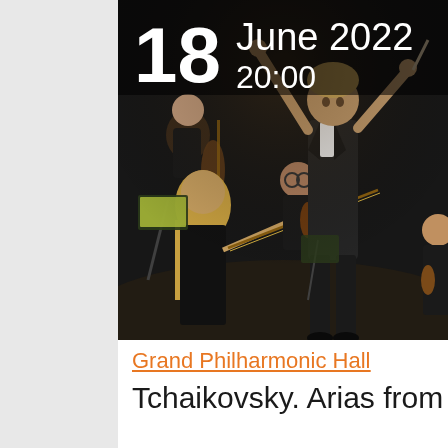[Figure (photo): Orchestra concert photo: A conductor in a dark suit stands center with arms raised, musicians with string instruments visible in the foreground and background, dark stage lighting. Date overlay shows '18 June 2022 20:00' in white text on dark background.]
Grand Philharmonic Hall
Tchaikovsky. Arias from